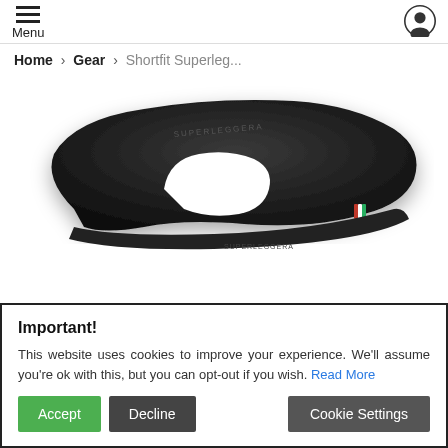Menu
Home › Gear › Shortfit Superleg...
[Figure (photo): Black bicycle saddle (Shortfit Superleg) viewed from above at a slight angle, showing a teardrop-shaped cutout in the center and a small Italian flag detail on the side rail.]
Important!
This website uses cookies to improve your experience. We'll assume you're ok with this, but you can opt-out if you wish. Read More
Accept  Decline  Cookie Settings